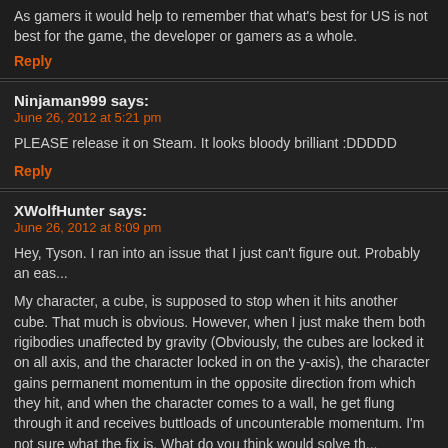As gamers it would help to remember that what's best for US is not best for the game, the developer or gamers as a whole.
Reply
Ninjaman999 says:
June 26, 2012 at 5:21 pm
PLEASE release it on Steam. It looks bloody brilliant :DDDDD
Reply
XWolfHunter says:
June 26, 2012 at 8:09 pm
Hey, Tyson. I ran into an issue that I just can't figure out. Probably an eas...
My character, a cube, is supposed to stop when it hits another cube. That much is obvious. However, when I just make them both rigibodies unaffected by gravity (Obviously, the cubes are locked it on all axis, and the character locked in on the y-axis), the character gains permanent momentum in the opposite direction from which they hit, and when the character comes to a wall, he get flung through it and receives buttloads of uncounterable momentum. I'm not sure what the fix is. What do you think would solve th...
Reply